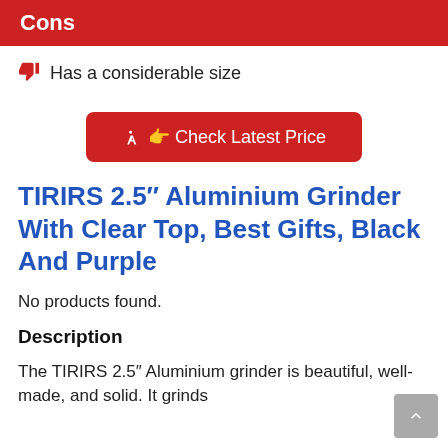Cons
Has a considerable size
[Figure (other): Red rounded button labeled 'Check Latest Price' with a cursor/pointer icon]
TIRIRS 2.5″ Aluminium Grinder With Clear Top, Best Gifts, Black And Purple
No products found.
Description
The TIRIRS 2.5″ Aluminium grinder is beautiful, well-made, and solid. It grinds